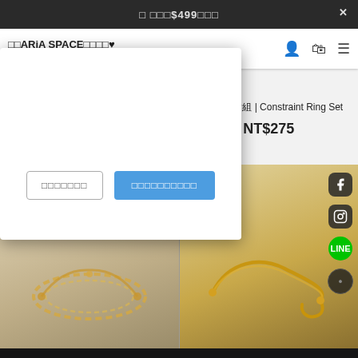□ □□□$499□□□
□□ARiA SPACE□□□□♥
□□□□□□□□□!
□□□□□□□
□□□□□□□□□□
小紐約・戒指組 | Little New York Ring Set
NT$345
約束・戒指組 | Constraint Ring Set
NT$275
[Figure (photo): Gold chain bracelet on light background]
[Figure (photo): Gold rope bracelet on light background]